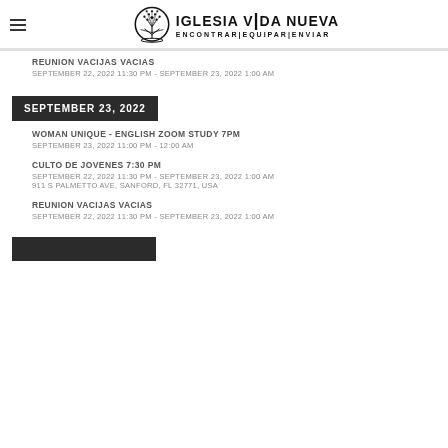IGLESIA VIDA NUEVA | ENCONTRAR|EQUIPAR|ENVIAR
REUNION VACIJAS VACIAS
SEPTEMBER 22, 2022  11:30 PM - SEPTEMBER 23, 2022  1:00 AM
SEPTEMBER 23, 2022
WOMAN UNIQUE - ENGLISH ZOOM STUDY 7PM
SEPTEMBER 23, 2022  11:00 PM - 12:00 AM
CULTO DE JOVENES 7:30 PM
SEPTEMBER 22, 2022  11:30 PM - SEPTEMBER 23, 2022  1:00 AM
911 S PALMETTO AVE, SANFORD, FL 32771, USA
REUNION VACIJAS VACIAS
SEPTEMBER 22, 2022  11:30 PM - SEPTEMBER 23, 2022  1:00 AM